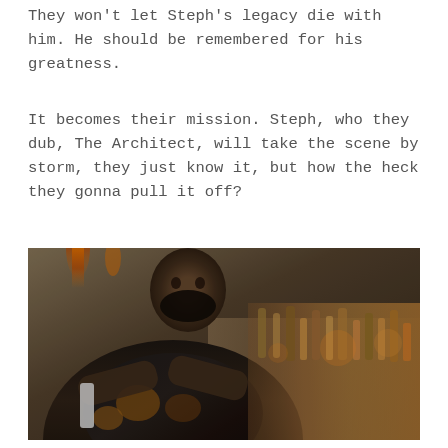They won't let Steph's legacy die with him. He should be remembered for his greatness.
It becomes their mission. Steph, who they dub, The Architect, will take the scene by storm, they just know it, but how the heck they gonna pull it off?
[Figure (photo): A man with a bald head and beard wearing a dark patterned shirt with orange/gold embroidery, gesturing with his hands crossed, standing in front of a bar with amber lighting and bottles in the background.]